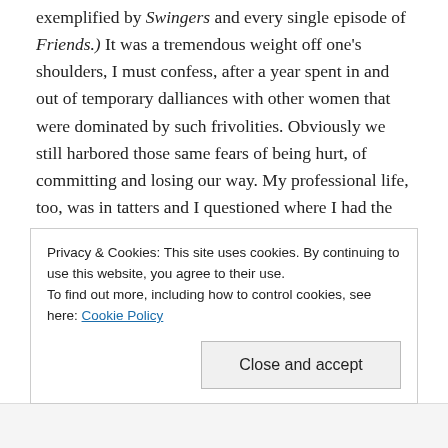exemplified by Swingers and every single episode of Friends.)  It was a tremendous weight off one's shoulders, I must confess, after a year spent in and out of temporary dalliances with other women that were dominated by such frivolities.  Obviously we still harbored those same fears of being hurt, of committing and losing our way.  My professional life, too, was in tatters and I questioned where I had the temerity to enter into a serious relationship when I didn't know whether I'd have the rent next month.  Something was indeed broken.
Privacy & Cookies: This site uses cookies. By continuing to use this website, you agree to their use.
To find out more, including how to control cookies, see here: Cookie Policy
Close and accept